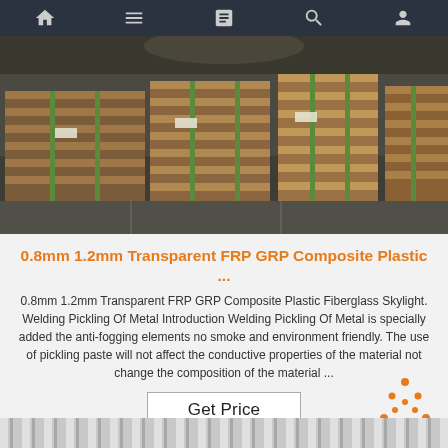Navigation bar with icons: home, menu, document, search, user
[Figure (photo): Warehouse with stacked wooden-edge material sheets/panels on floor under industrial lighting]
0.8mm 1.2mm Transparent FRP GRP Composite Plastic ...
0.8mm 1.2mm Transparent FRP GRP Composite Plastic Fiberglass Skylight. Welding Pickling Of Metal Introduction Welding Pickling Of Metal is specially added the anti-fogging elements no smoke and environment friendly. The use of pickling paste will not affect the conductive properties of the material not change the composition of the material ...
[Figure (illustration): Get Price button (white rectangle with border)]
[Figure (logo): Orange TOP badge with dot-triangle and TOP text]
[Figure (photo): Close-up of corrugated transparent fiberglass/plastic sheets]